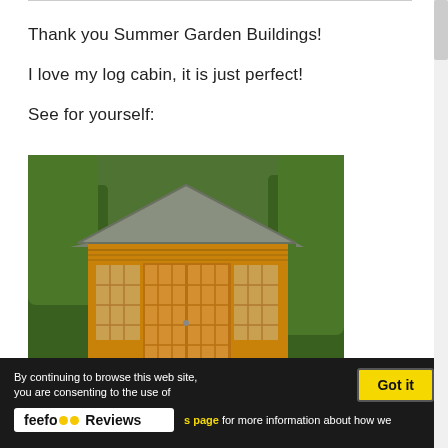Thank you Summer Garden Buildings!
I love my log cabin, it is just perfect!
See for yourself:
[Figure (photo): A wooden log cabin / summerhouse with a grey roof, large glass French doors and windows, surrounded by green ivy and hedges in a garden setting.]
By continuing to browse this web site, you are consenting to the use of
Got it
feefo Reviews
s page for more information about how we